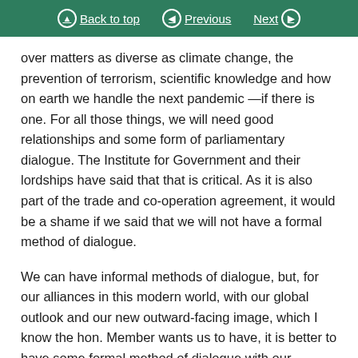Back to top   Previous   Next
over matters as diverse as climate change, the prevention of terrorism, scientific knowledge and how on earth we handle the next pandemic —if there is one. For all those things, we will need good relationships and some form of parliamentary dialogue. The Institute for Government and their lordships have said that that is critical. As it is also part of the trade and co-operation agreement, it would be a shame if we said that we will not have a formal method of dialogue.
We can have informal methods of dialogue, but, for our alliances in this modern world, with our global outlook and our new outward-facing image, which I know the hon. Member wants us to have, it is better to have some formal method of dialogue with our